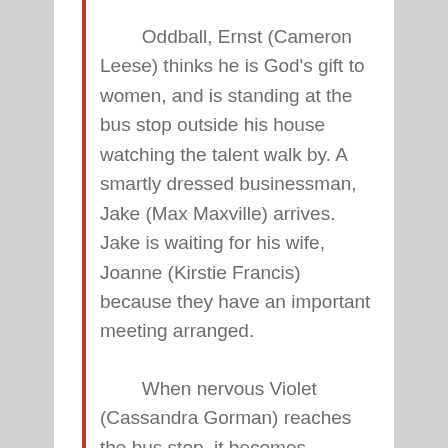Oddball, Ernst (Cameron Leese) thinks he is God's gift to women, and is standing at the bus stop outside his house watching the talent walk by. A smartly dressed businessman, Jake (Max Maxville) arrives. Jake is waiting for his wife, Joanne (Kirstie Francis) because they have an important meeting arranged.
When nervous Violet (Cassandra Gorman) reaches the bus stop, it becomes apparent that